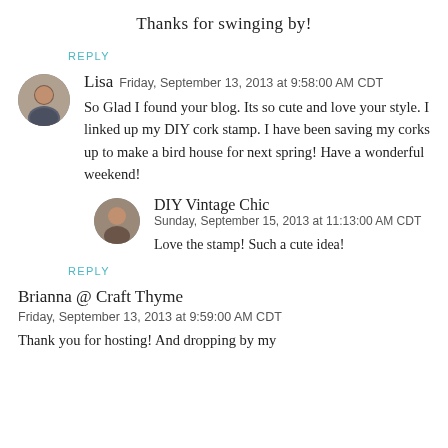Thanks for swinging by!
REPLY
Lisa  Friday, September 13, 2013 at 9:58:00 AM CDT
So Glad I found your blog. Its so cute and love your style. I linked up my DIY cork stamp. I have been saving my corks up to make a bird house for next spring! Have a wonderful weekend!
DIY Vintage Chic  Sunday, September 15, 2013 at 11:13:00 AM CDT
Love the stamp! Such a cute idea!
REPLY
Brianna @ Craft Thyme  Friday, September 13, 2013 at 9:59:00 AM CDT
Thank you for hosting! And dropping by my